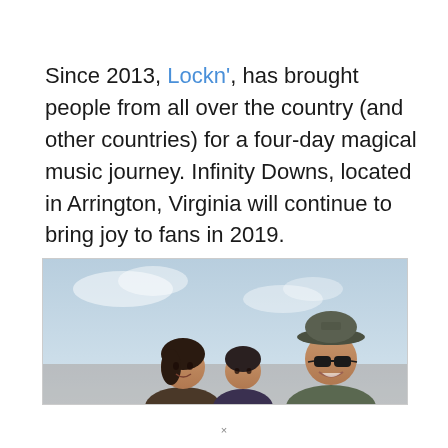Since 2013, Lockn', has brought people from all over the country (and other countries) for a four-day magical music journey. Infinity Downs, located in Arrington, Virginia will continue to bring joy to fans in 2019.
[Figure (photo): Photo of three people smiling outdoors — a woman on the left, a child in the middle, and a man wearing a bucket hat and sunglasses on the right — against a light blue sky background.]